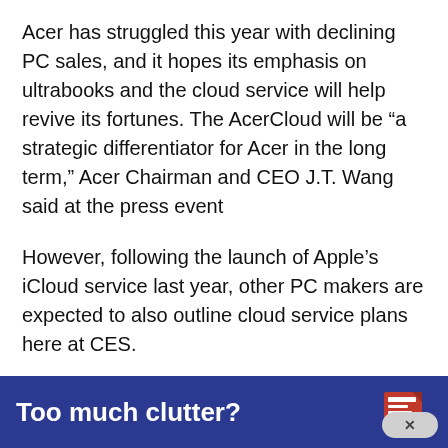Acer has struggled this year with declining PC sales, and it hopes its emphasis on ultrabooks and the cloud service will help revive its fortunes. The AcerCloud will be “a strategic differentiator for Acer in the long term,” Acer Chairman and CEO J.T. Wang said at the press event
However, following the launch of Apple’s iCloud service last year, other PC makers are expected to also outline cloud service plans here at CES.
Acer showed several new ultrabooks Sunday, an emerging class of slim-form-factor PCs intended to challenge Apple’s MacBook Air.
[Figure (infographic): Dark blue banner advertisement reading 'Too much clutter?' with a newspaper/document icon on the right and a close (x) button.]